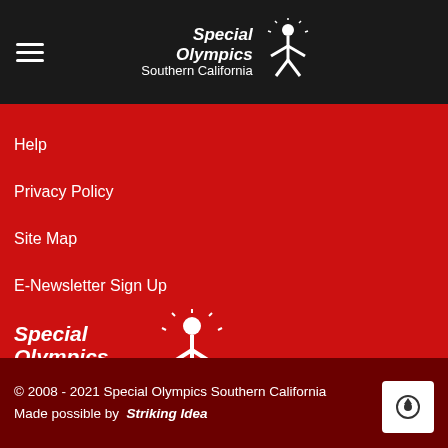Special Olympics Southern California
Help
Privacy Policy
Site Map
E-Newsletter Sign Up
[Figure (logo): Special Olympics Southern California logo with sunburst figure icon on red background]
Created by the Joseph P. Kennedy, Jr. Foundation. Authorized and Accredited by Special Olympics, Inc. for the Benefit of Persons with Intellectual Disabilities.
© 2008 - 2021 Special Olympics Southern California Made possible by Striking Idea